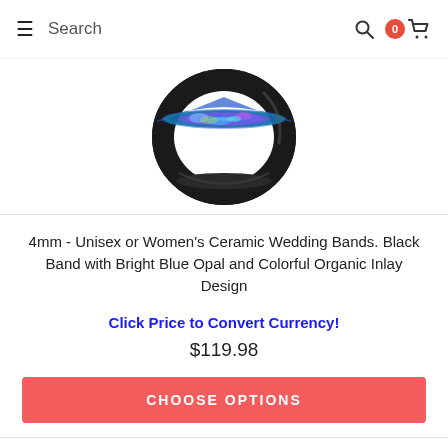Search
[Figure (photo): Black ceramic ring with bright blue opal and colorful organic inlay design, photographed from above showing the interior inlay]
4mm - Unisex or Women's Ceramic Wedding Bands. Black Band with Bright Blue Opal and Colorful Organic Inlay Design
Click Price to Convert Currency!
$119.98
CHOOSE OPTIONS